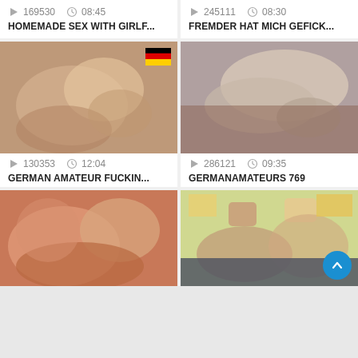[Figure (screenshot): Video thumbnail grid - top left: video stats 169530 views 08:45, title HOMEMADE SEX WITH GIRLF...]
[Figure (screenshot): Video thumbnail grid - top right: video stats 245111 views 08:30, title FREMDER HAT MICH GEFICK...]
[Figure (screenshot): Video thumbnail grid - middle left: video thumbnail with German flag, stats 130353 views 12:04, title GERMAN AMATEUR FUCKIN...]
[Figure (screenshot): Video thumbnail grid - middle right: video stats 286121 views 09:35, title GERMANAMATEURS 769]
[Figure (screenshot): Video thumbnail grid - bottom left: video thumbnail]
[Figure (screenshot): Video thumbnail grid - bottom right: video thumbnail with scroll-to-top button]